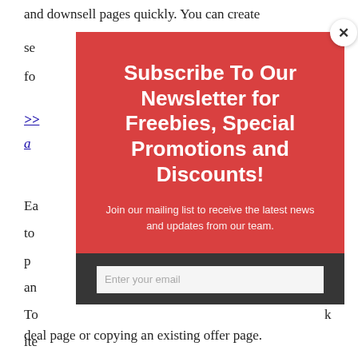and downsell pages quickly. You can create
se[obscured by modal]
fo[obscured by modal]
>>[link, partially obscured] ... g a[link, partially obscured]
Ea[obscured] to[obscured] pr[obscured] s an[obscured] To[obscured] k ite[obscured]
F[obscured] up[obscured]
deal page or copying an existing offer page.
[Figure (infographic): Red modal popup overlay with white X close button. Title: 'Subscribe To Our Newsletter for Freebies, Special Promotions and Discounts!' Subtitle: 'Join our mailing list to receive the latest news and updates from our team.' Dark grey section below with a text input field visible at bottom.]